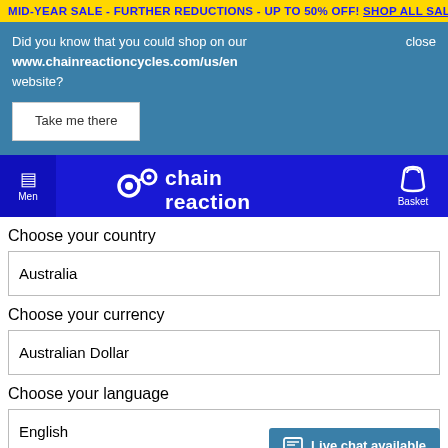MID-YEAR SALE - FURTHER REDUCTIONS - UP TO 50% OFF! SHOP ALL SALE
Did you know that you could shop on our www.chainreactioncycles.com/us/en website?
close
Take me there
[Figure (logo): Chain Reaction Cycles logo - white text on blue background with gear/chain icon]
Men
Basket
Choose your country
Australia
Choose your currency
Australian Dollar
Choose your language
English
Live chat available